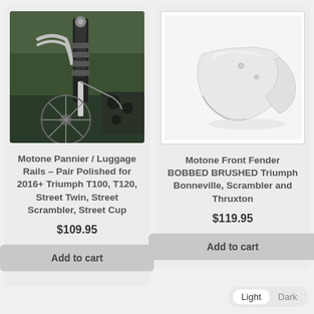[Figure (photo): Close-up photo of motorcycle suspension/shock absorber and pannier rails area, black chrome parts, spoked wheel visible]
Motone Pannier / Luggage Rails – Pair Polished for 2016+ Triumph T100, T120, Street Twin, Street Scrambler, Street Cup
$109.95
Add to cart
[Figure (photo): Photo of white/brushed aluminum motorcycle front fender (mudguard), bobbed style, on white background]
Motone Front Fender BOBBED BRUSHED Triumph Bonneville, Scrambler and Thruxton
$119.95
Add to cart
Light   Dark